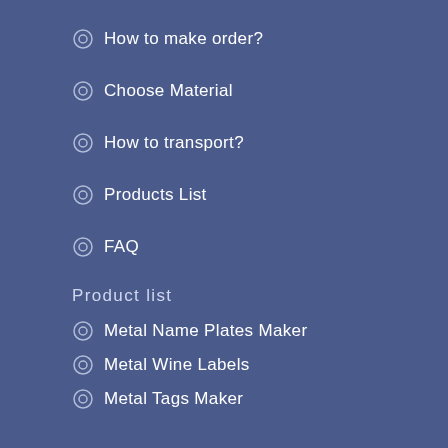How to make order?
Choose Material
How to transport?
Products List
FAQ
Product list
Metal Name Plates Maker
Metal Wine Labels
Metal Tags Maker
Metal Labels Maker
Nickel Label & Sticker
About us